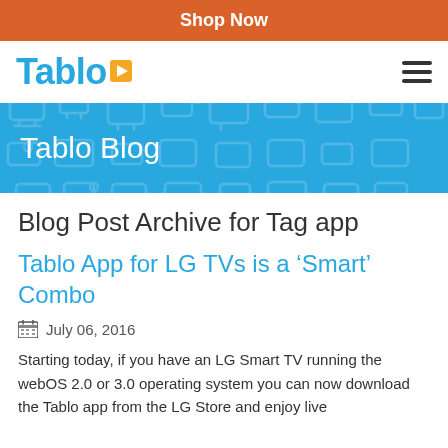Shop Now
[Figure (logo): Tablo logo with play button icon and hamburger menu]
[Figure (illustration): Tablo Blog banner with TV icon pattern background]
Blog Post Archive for Tag app
Tablo App for LG TVs is a ‘Smart’ Combo
July 06, 2016
Starting today, if you have an LG Smart TV running the webOS 2.0 or 3.0 operating system you can now download the Tablo app from the LG Store and enjoy live